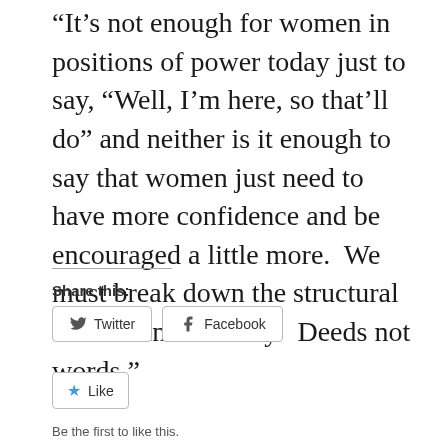“It’s not enough for women in positions of power today just to say, “Well, I’m here, so that’ll do” and neither is it enough to say that women just need to have more confidence and be encouraged a little more.  We must break down the structural barriers in their way.  Deeds not words.”
Share this:
[Figure (other): Twitter share button with bird icon]
[Figure (other): Facebook share button with f icon]
[Figure (other): Like button with star icon]
Be the first to like this.